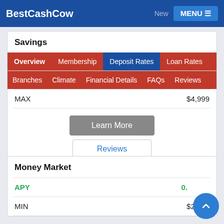BestCashCow
Savings
Overview | Membership | Deposit Rates | Loan Rates
Branches | Climate | Financial Details | FAQs | Reviews
MAX  $4,999
Learn More
Reviews
Money Market
APY  0.75%
MIN  $2,500